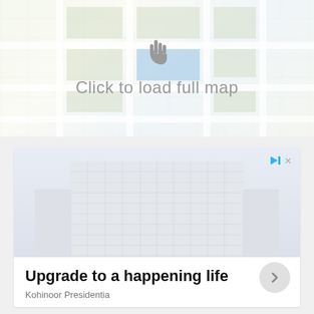[Figure (map): Blurred map background with pointer/cursor hand icon]
Click to load full map
[Figure (photo): Advertisement showing a large modern building (Kohinoor Presidentia) with text 'Upgrade to a happening life']
Upgrade to a happening life
Kohinoor Presidentia